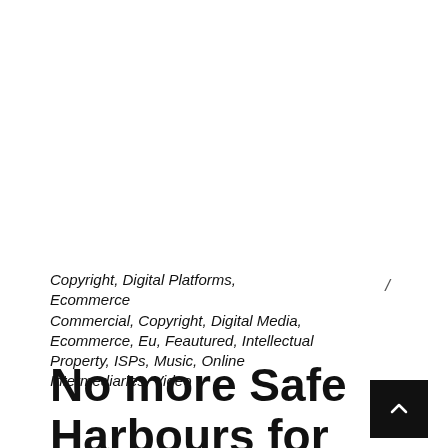Copyright, Digital Platforms, Ecommerce
Commercial, Copyright, Digital Media, Ecommerce, Eu, Feautured, Intellectual Property, ISPs, Music, Online Intermediaries, Video
No more Safe Harbours for EU-